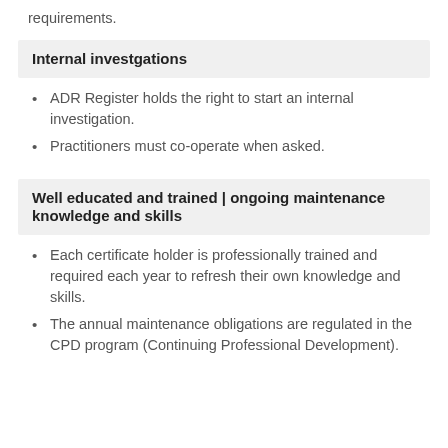requirements.
Internal investgations
ADR Register holds the right to start an internal investigation.
Practitioners must co-operate when asked.
Well educated and trained | ongoing maintenance knowledge and skills
Each certificate holder is professionally trained and required each year to refresh their own knowledge and skills.
The annual maintenance obligations are regulated in the CPD program (Continuing Professional Development).